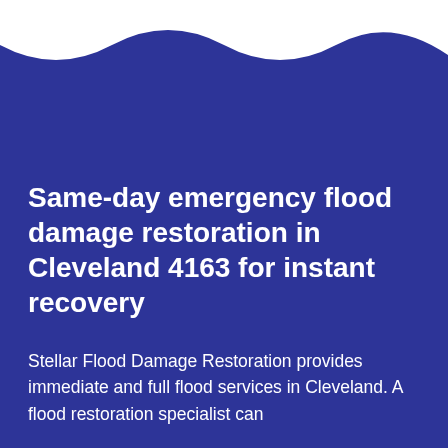[Figure (illustration): Dark blue background with a white wave cutout at the top, creating a wave shape at the upper portion of the card.]
Same-day emergency flood damage restoration in Cleveland 4163 for instant recovery
Stellar Flood Damage Restoration provides immediate and full flood services in Cleveland. A flood restoration specialist can